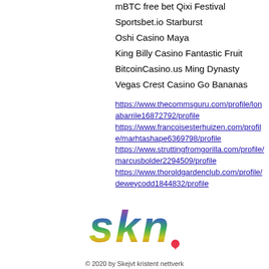mBTC free bet Qixi Festival
Sportsbet.io Starburst
Oshi Casino Maya
King Billy Casino Fantastic Fruit
BitcoinCasino.us Ming Dynasty
Vegas Crest Casino Go Bananas
https://www.thecommsguru.com/profile/lonabarrile16872792/profile
https://www.francoisesterhuizen.com/profile/marhtashape6369798/profile
https://www.struttingfromgorilla.com/profile/marcusbolder2294509/profile
https://www.thoroldgardenclub.com/profile/deweycodd1844832/profile
[Figure (logo): SKN rainbow-colored logo with heart]
© 2020 by Skejvt kristent nettverk